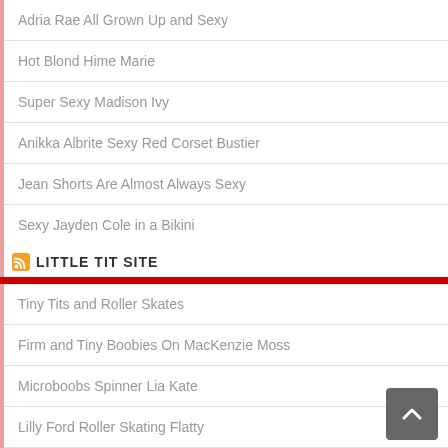Adria Rae All Grown Up and Sexy
Hot Blond Hime Marie
Super Sexy Madison Ivy
Anikka Albrite Sexy Red Corset Bustier
Jean Shorts Are Almost Always Sexy
Sexy Jayden Cole in a Bikini
LITTLE TIT SITE
Tiny Tits and Roller Skates
Firm and Tiny Boobies On MacKenzie Moss
Microboobs Spinner Lia Kate
Lilly Ford Roller Skating Flatty
Tiny Tits Pornstar Riley Star
So You Want To See My Tiny Tits